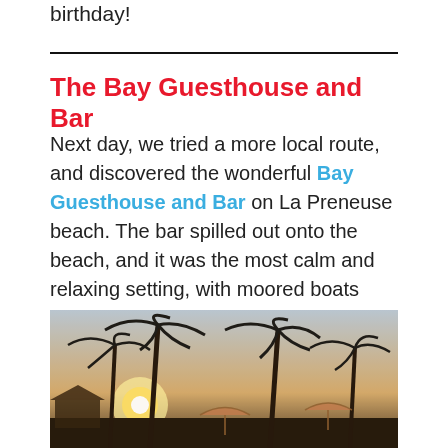birthday!
The Bay Guesthouse and Bar
Next day, we tried a more local route, and discovered the wonderful Bay Guesthouse and Bar on La Preneuse beach. The bar spilled out onto the beach, and it was the most calm and relaxing setting, with moored boats bobbing about gently just feet away from the shore.
[Figure (photo): Photo of palm trees against a bright sky with beach umbrellas and a warm glowing sunset light, at a beachside bar setting.]